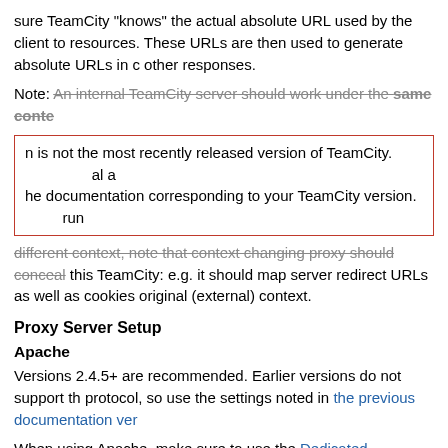sure TeamCity "knows" the actual absolute URL used by the client to resources. These URLs are then used to generate absolute URLs in other responses.
Note: An internal TeamCity server should work under the same conte
n is not the most recently released version of TeamCity. al a
he documentation corresponding to your TeamCity version. run
different context, note that context changing proxy should conceal this TeamCity: e.g. it should map server redirect URLs as well as cookies original (external) context.
Proxy Server Setup
Apache
Versions 2.4.5+ are recommended. Earlier versions do not support the protocol, so use the settings noted in the previous documentation ver
When using Apache, make sure to use the Dedicated "Connector" no configuring TeamCity server.
LoadModule   proxy_module        /usr/lib/ap
LoadModule   proxy_http_module   /usr/lib/a